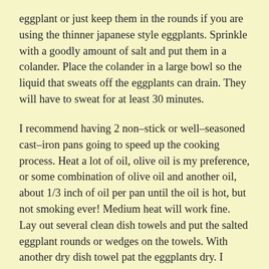eggplant or just keep them in the rounds if you are using the thinner japanese style eggplants. Sprinkle with a goodly amount of salt and put them in a colander. Place the colander in a large bowl so the liquid that sweats off the eggplants can drain. They will have to sweat for at least 30 minutes.
I recommend having 2 non–stick or well–seasoned cast–iron pans going to speed up the cooking process. Heat a lot of oil, olive oil is my preference, or some combination of olive oil and another oil, about 1/3 inch of oil per pan until the oil is hot, but not smoking ever! Medium heat will work fine. Lay out several clean dish towels and put the salted eggplant rounds or wedges on the towels. With another dry dish towel pat the eggplants dry. I endeavor not to use paper products in my kitchen, but if you have to use paper towels, I'll never know.
Place the dried wedges in the oil. They will be in the oil for a